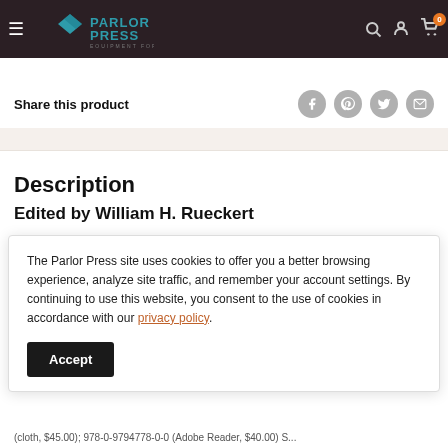Parlor Press — Equipment for Living (navigation header)
Share this product
Description
Edited by William H. Rueckert
The Parlor Press site uses cookies to offer you a better browsing experience, analyze site traffic, and remember your account settings. By continuing to use this website, you consent to the use of cookies in accordance with our privacy policy.
Accept
(cloth, $45.00); 978-0-9794778-0-0 (Adobe Reader, $40.00) S...